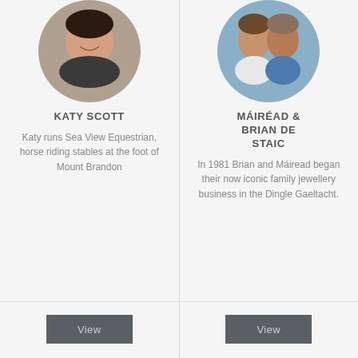[Figure (photo): Circular portrait photo of Katy Scott]
KATY SCOTT
Katy runs Sea View Equestrian, horse riding stables at the foot of Mount Brandon
[Figure (photo): Circular portrait photo of Máiréad & Brian De Staic, a couple]
MÁIRÉAD & BRIAN DE STAIC
In 1981 Brian and Máiread began their now iconic family jewellery business in the Dingle Gaeltacht.